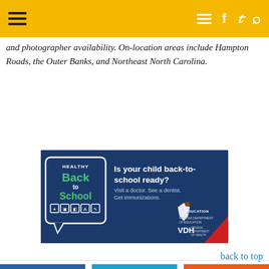Navigation header bar with hamburger menu and social icons
and photographer availability. On-location areas include Hampton Roads, the Outer Banks, and Northeast North Carolina.
[Figure (infographic): Ad banner: Healthy Back to School - Is your child back-to-school ready? Visit a doctor. See a dentist. Get immunizations. Virginia Department of Education and VDH logos.]
back to top